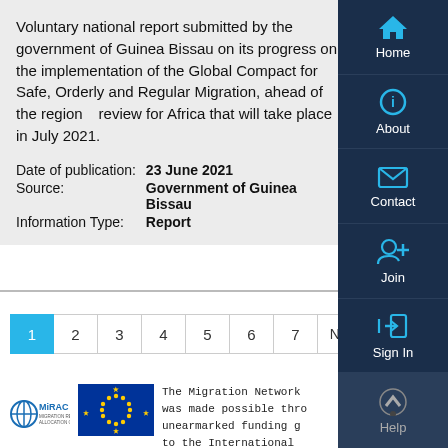Voluntary national report submitted by the government of Guinea Bissau on its progress on the implementation of the Global Compact for Safe, Orderly and Regular Migration, ahead of the regional review for Africa that will take place in July 2021.
Date of publication: 23 June 2021
Source: Government of Guinea Bissau
Information Type: Report
[Figure (screenshot): Navigation sidebar with Home, About, Contact, Join, Sign In, Help buttons on dark navy background with cyan icons]
[Figure (infographic): Pagination bar showing pages 1 (active/highlighted in blue), 2, 3, 4, 5, 6, 7, Next, Last]
[Figure (logo): MiRAC (Migration Resource Allocation Committee) logo and EU flag logo]
The Migration Network was made possible through unearmarked funding given to the International Organization for Migration (IOM) and internally allocated